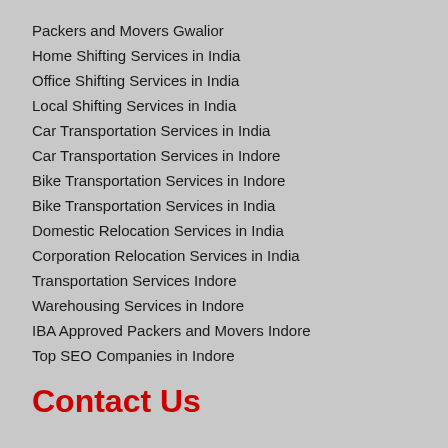Packers and Movers Gwalior
Home Shifting Services in India
Office Shifting Services in India
Local Shifting Services in India
Car Transportation Services in India
Car Transportation Services in Indore
Bike Transportation Services in Indore
Bike Transportation Services in India
Domestic Relocation Services in India
Corporation Relocation Services in India
Transportation Services Indore
Warehousing Services in Indore
IBA Approved Packers and Movers Indore
Top SEO Companies in Indore
Contact Us